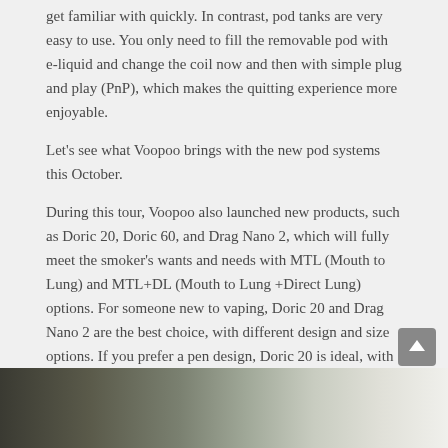get familiar with quickly. In contrast, pod tanks are very easy to use. You only need to fill the removable pod with e-liquid and change the coil now and then with simple plug and play (PnP), which makes the quitting experience more enjoyable.
Let's see what Voopoo brings with the new pod systems this October.
During this tour, Voopoo also launched new products, such as Doric 20, Doric 60, and Drag Nano 2, which will fully meet the smoker's wants and needs with MTL (Mouth to Lung) and MTL+DL (Mouth to Lung +Direct Lung) options. For someone new to vaping, Doric 20 and Drag Nano 2 are the best choice, with different design and size options. If you prefer a pen design, Doric 20 is ideal, with a pod pen design, and very simple usability. It has adjustable airflow for a draw similar to smoking, mesh coils for smooth and stable flavours, vapour activated by puffing or button pressing, not to mention ultra slim alloy body, fast charge, and anti-leakage structure.
[Figure (photo): Partially visible product photo at the bottom of the page, dark and blurred background]